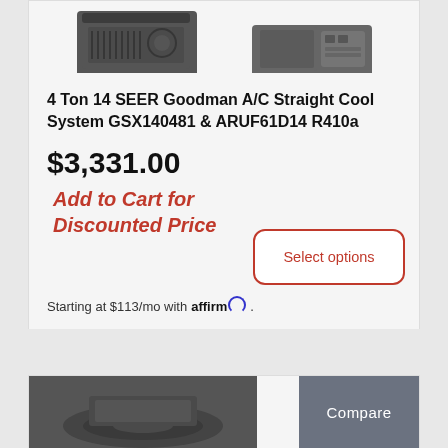[Figure (photo): Two HVAC/AC unit product images side by side at top of product card]
4 Ton 14 SEER Goodman A/C Straight Cool System GSX140481 & ARUF61D14 R410a
$3,331.00
Add to Cart for Discounted Price
Starting at $113/mo with affirm.
[Figure (other): Select options button with red border]
[Figure (photo): Second product card with AC unit image and Compare badge]